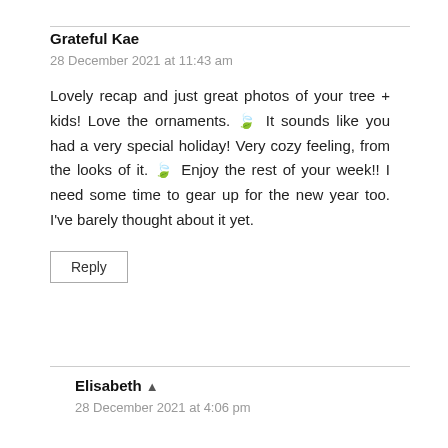Grateful Kae
28 December 2021 at 11:43 am
Lovely recap and just great photos of your tree + kids! Love the ornaments. 🎄 It sounds like you had a very special holiday! Very cozy feeling, from the looks of it. 🎄 Enjoy the rest of your week!! I need some time to gear up for the new year too. I've barely thought about it yet.
Reply
Elisabeth 🔺
28 December 2021 at 4:06 pm